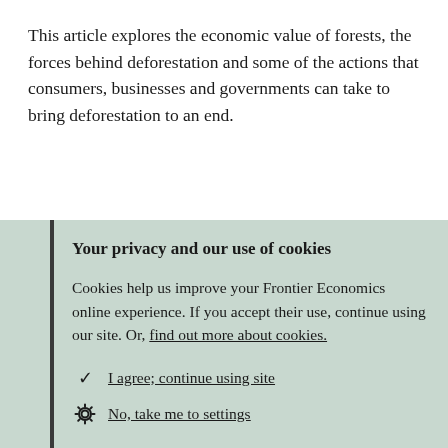This article explores the economic value of forests, the forces behind deforestation and some of the actions that consumers, businesses and governments can take to bring deforestation to an end.
Your privacy and our use of cookies
Cookies help us improve your Frontier Economics online experience. If you accept their use, continue using our site. Or, find out more about cookies.
✓ I agree; continue using site
⚙ No, take me to settings